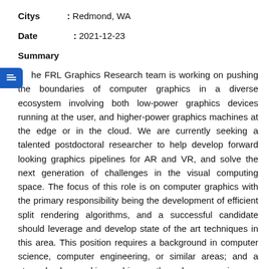Citys     : Redmond, WA
Date      : 2021-12-23
Summary
The FRL Graphics Research team is working on pushing the boundaries of computer graphics in a diverse ecosystem involving both low-power graphics devices running at the user, and higher-power graphics machines at the edge or in the cloud. We are currently seeking a talented postdoctoral researcher to help develop forward looking graphics pipelines for AR and VR, and solve the next generation of challenges in the visual computing space. The focus of this role is on computer graphics with the primary responsibility being the development of efficient split rendering algorithms, and a successful candidate should leverage and develop state of the art techniques in this area. This position requires a background in computer science, computer engineering, or similar areas; and a strong background in graphics, math, and programming.